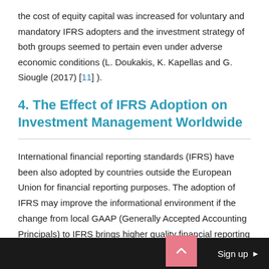the cost of equity capital was increased for voluntary and mandatory IFRS adopters and the investment strategy of both groups seemed to pertain even under adverse economic conditions (L. Doukakis, K. Kapellas and G. Siougle (2017) [11] ).
4. The Effect of IFRS Adoption on Investment Management Worldwide
International financial reporting standards (IFRS) have been also adopted by countries outside the European Union for financial reporting purposes. The adoption of IFRS may improve the informational environment if the change from local GAAP (Generally Accepted Accounting Principals) to IFRS brings higher quality financial reporting and lower information asymmetries among countries. Therefore, a question arises whether the